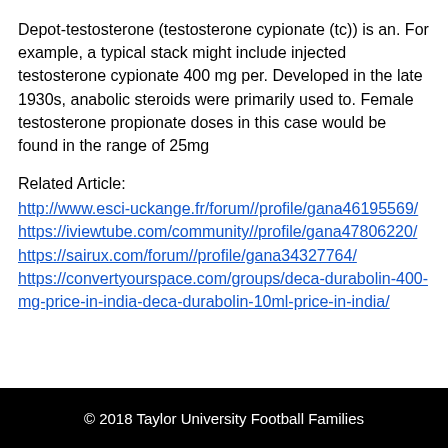Depot-testosterone (testosterone cypionate (tc)) is an. For example, a typical stack might include injected testosterone cypionate 400 mg per. Developed in the late 1930s, anabolic steroids were primarily used to. Female testosterone propionate doses in this case would be found in the range of 25mg
Related Article:
http://www.esci-uckange.fr/forum//profile/gana46195569/
https://iviewtube.com/community//profile/gana47806220/
https://sairux.com/forum//profile/gana34327764/
https://convertyourspace.com/groups/deca-durabolin-400-mg-price-in-india-deca-durabolin-10ml-price-in-india/
© 2018 Taylor University Football Families